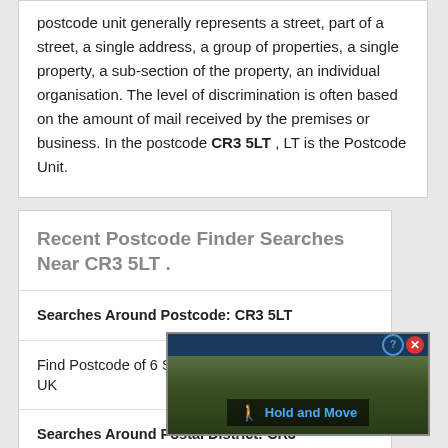postcode unit generally represents a street, part of a street, a single address, a group of properties, a single property, a sub-section of the property, an individual organisation. The level of discrimination is often based on the amount of mail received by the premises or business. In the postcode CR3 5LT , LT is the Postcode Unit.
Recent Postcode Finder Searches Near CR3 5LT .
| Searches Around Postcode: CR3 5LT |
| Find Postcode of 6 Salmons Lane West, Caterham, UK |
| Searches Around Postal District: CR3 |
| Find P... |
| Find F... |